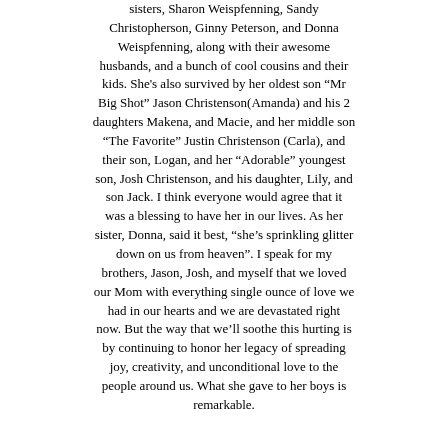sisters, Sharon Weispfenning, Sandy Christopherson, Ginny Peterson, and Donna Weispfenning, along with their awesome husbands, and a bunch of cool cousins and their kids. She's also survived by her oldest son "Mr Big Shot" Jason Christenson(Amanda) and his 2 daughters Makena, and Macie, and her middle son "The Favorite" Justin Christenson (Carla), and their son, Logan, and her "Adorable" youngest son, Josh Christenson, and his daughter, Lily, and son Jack. I think everyone would agree that it was a blessing to have her in our lives. As her sister, Donna, said it best, "she's sprinkling glitter down on us from heaven". I speak for my brothers, Jason, Josh, and myself that we loved our Mom with everything single ounce of love we had in our hearts and we are devastated right now. But the way that we'll soothe this hurting is by continuing to honor her legacy of spreading joy, creativity, and unconditional love to the people around us. What she gave to her boys is remarkable.